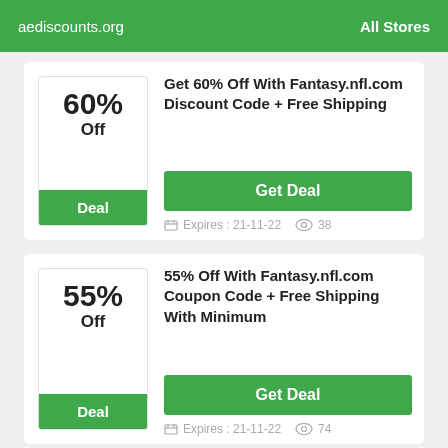aediscounts.org  All Stores
60% Off Deal
Get 60% Off With Fantasy.nfl.com Discount Code + Free Shipping
Get Deal
Expires : 21-11-22   38
55% Off Deal
55% Off With Fantasy.nfl.com Coupon Code + Free Shipping With Minimum
Get Deal
Expires : 21-11-22   74